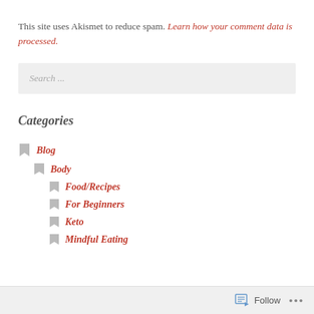This site uses Akismet to reduce spam. Learn how your comment data is processed.
Search ...
Categories
Blog
Body
Food/Recipes
For Beginners
Keto
Mindful Eating
Follow ...